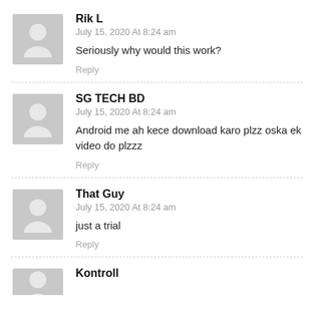Rik L
July 15, 2020 At 8:24 am
Seriously why would this work?
Reply
SG TECH BD
July 15, 2020 At 8:24 am
Android me ah kece download karo plzz oska ek video do plzzz
Reply
That Guy
July 15, 2020 At 8:24 am
just a trial
Reply
Kontroll